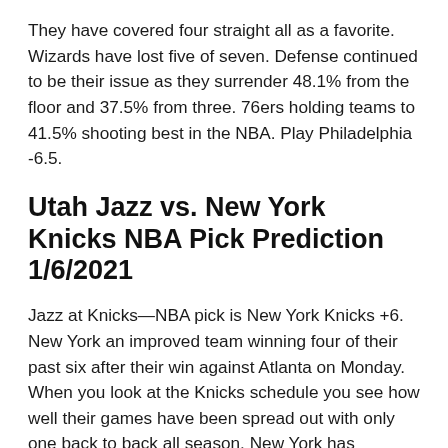They have covered four straight all as a favorite. Wizards have lost five of seven. Defense continued to be their issue as they surrender 48.1% from the floor and 37.5% from three. 76ers holding teams to 41.5% shooting best in the NBA. Play Philadelphia -6.5.
Utah Jazz vs. New York Knicks NBA Pick Prediction 1/6/2021
Jazz at Knicks—NBA pick is New York Knicks +6. New York an improved team winning four of their past six after their win against Atlanta on Monday. When you look at the Knicks schedule you see how well their games have been spread out with only one back to back all season. New York has defended well especially the three point line. They are a good shooting team that is connecting on 37.3% from three. Jazz on a back to back playing their third game in four nights all on the road after a blow out loss at Brooklyn. Poor defensive showing by Utah in their defeat to the Nets